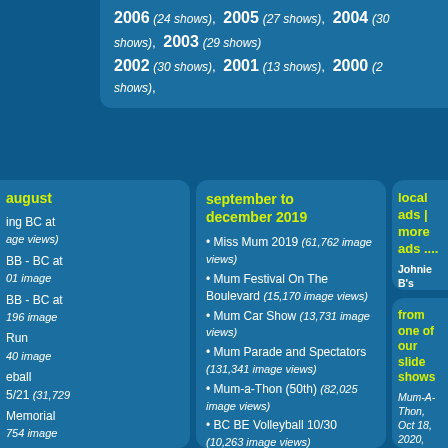2006 (24 shows), 2005 (27 shows), 2004 (30 shows), 2003 (29 shows) 2002 (30 shows), 2001 (13 shows), 2000 (2 shows),
august
ing BC at age views)
BB - BC at 01 image
BB - BC at 196 image
Run 40 image
eball 5/21 (31,729
Memorial 754 image
morial sion (11,672
september to december 2019
Miss Mum 2019 (61,762 image views)
Mum Festival On The Boulevard (15,170 image views)
Mum Car Show (13,731 image views)
Mum Parade and Spectators (131,341 image views)
Mum-a-Thon (50th) (82,025 image views)
BC BE Volleyball 10/30 (10,263 image views)
Bristol Eastern Football 11/1 (32,944 image views)
Boys Soccer BC at BE (23,638 image views)
Bristol Central Football (32,170...)
local ads | more ads ....
Johnie B's Stump Grinding/Stu Removal - Are you Stumped? Ca 2247
This ad has been seen 221,823 times. 1,137 times.
from one of our slide shows
Mum-A-Thon, Oct 18, 2020, Image Number